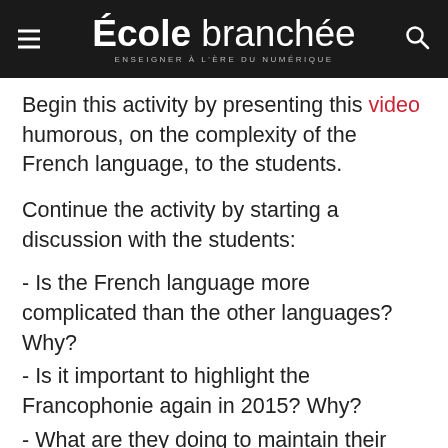École branchée — ENSEIGNER À L'ÈRE DU NUMÉRIQUE
Begin this activity by presenting this video humorous, on the complexity of the French language, to the students.
Continue the activity by starting a discussion with the students:
- Is the French language more complicated than the other languages? Why?
- Is it important to highlight the Francophonie again in 2015? Why?
- What are they doing to maintain their heritage of the French language?